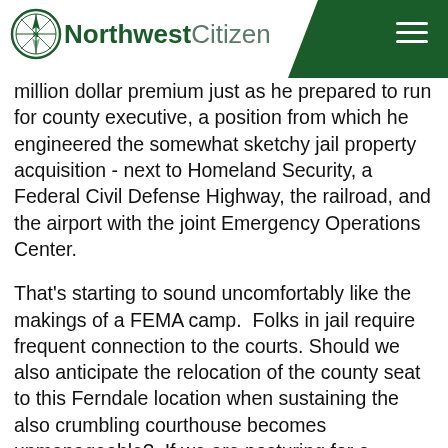Northwest Citizen
million dollar premium just as he prepared to run for county executive, a position from which he engineered the somewhat sketchy jail property acquisition - next to Homeland Security, a Federal Civil Defense Highway, the railroad, and the airport with the joint Emergency Operations Center.
That's starting to sound uncomfortably like the makings of a FEMA camp.  Folks in jail require frequent connection to the courts. Should we also anticipate the relocation of the county seat to this Ferndale location when sustaining the also crumbling courthouse becomes unmanageable?  If we are posturing for a regional justice center, shouldn't it be done in the open with the involvement of policy makers and the public?  Piecemeal approaches always benefit the schemers.
The current jail proposal intends to use 100% of funding available for public safety, leaving nothing for emergency